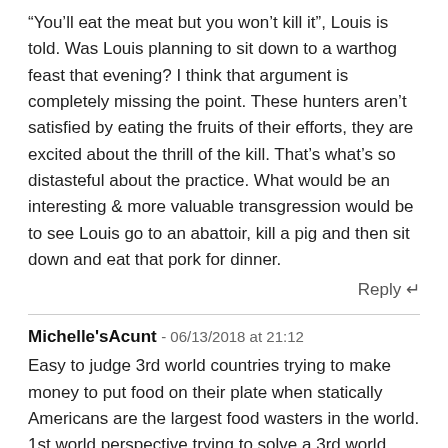“You’ll eat the meat but you won’t kill it”, Louis is told. Was Louis planning to sit down to a warthog feast that evening? I think that argument is completely missing the point. These hunters aren’t satisfied by eating the fruits of their efforts, they are excited about the thrill of the kill. That’s what’s so distasteful about the practice. What would be an interesting & more valuable transgression would be to see Louis go to an abattoir, kill a pig and then sit down and eat that pork for dinner.
Reply ↲
Michelle'sAcunt - 06/13/2018 at 21:12
Easy to judge 3rd world countries trying to make money to put food on their plate when statically Americans are the largest food wasters in the world. 1st world perspective trying to solve a 3rd world problem. Also willing to bet all of you eat meat, wear leather shoes, have leather couches and chairs, leather purses and wallets, wear cologne made from the extracts of beaver glands, use products